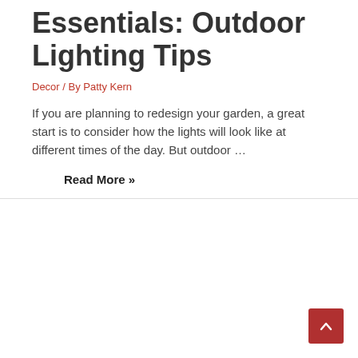Essentials: Outdoor Lighting Tips
Decor / By Patty Kern
If you are planning to redesign your garden, a great start is to consider how the lights will look like at different times of the day. But outdoor …
Read More »